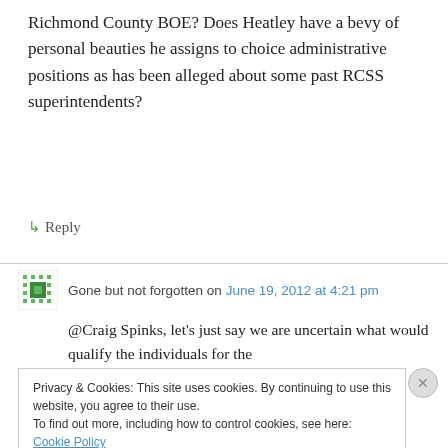Richmond County BOE? Does Heatley have a bevy of personal beauties he assigns to choice administrative positions as has been alleged about some past RCSS superintendents?
↳ Reply
Gone but not forgotten on June 19, 2012 at 4:21 pm
@Craig Spinks, let's just say we are uncertain what would qualify the individuals for the
Privacy & Cookies: This site uses cookies. By continuing to use this website, you agree to their use. To find out more, including how to control cookies, see here: Cookie Policy
Close and accept